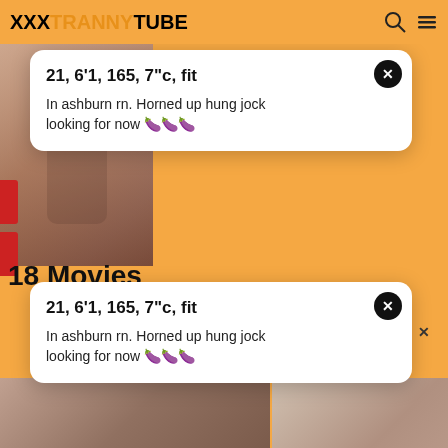XXXTRANNYTUBE
[Figure (screenshot): Popup ad card 1: male nude photo on left, text overlay on right]
21, 6'1, 165, 7"c, fit
In ashburn rn. Horned up hung jock looking for now 🍆🍆🍆
18 Movies
[Figure (screenshot): Popup ad card 2 duplicate: text overlay]
21, 6'1, 165, 7"c, fit
In ashburn rn. Horned up hung jock looking for now 🍆🍆🍆
[Figure (photo): Video thumbnail left: trans performer in fishnet stockings, time 6:10, likes 66%]
[Figure (photo): Video thumbnail right: blonde performer, time 6:11]
Blonde trans-babe Nanda M...
Anal  Ass  Busty  Bigcock  ...
She is trying to not cum
Anal  Cumshot  Blowjob  ...
[Figure (photo): HD video thumbnail bottom left: redhead performer]
[Figure (photo): HD video thumbnail bottom right: brunette performer]